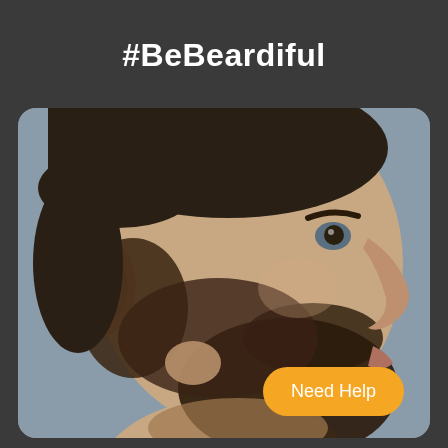#BeBeardiful
[Figure (photo): Side profile of a man with a beard showing a patchy spot, photographed against a grey background]
Need Help